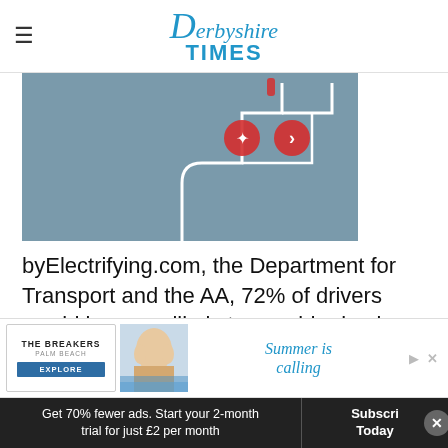Derbyshire Times
[Figure (illustration): Partial view of a grey illustration showing a connected map/route diagram with red circle icons and white lines on a grey background]
byElectrifying.com, the Department for Transport and the AA, 72% of drivers would be more likely to consider buying an electric car if there was more opportunity to charge at supermarkets.
Ginny ... said: "Congratulations to Tesco and Morrisons which
[Figure (advertisement): The Breakers Palm Beach advertisement with 'Summer is calling' text and beach photo]
Get 70% fewer ads. Start your 2-month trial for just £2 per month
Subscribe Today